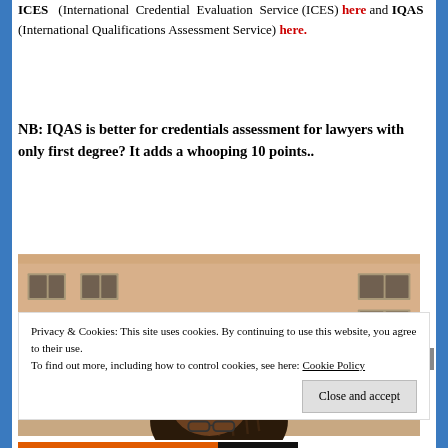ICES (International Credential Evaluation Service (ICES) here and IQAS (International Qualifications Assessment Service) here.
NB: IQAS is better for credentials assessment for lawyers with only first degree? It adds a whooping 10 points..
[Figure (photo): Photo of a person (seen from above) with braided hair, standing in front of a building with a peach/tan facade and windows.]
Privacy & Cookies: This site uses cookies. By continuing to use this website, you agree to their use.
To find out more, including how to control cookies, see here: Cookie Policy
Close and accept